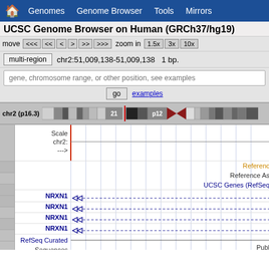🏠  Genomes  Genome Browser  Tools  Mirrors
UCSC Genome Browser on Human (GRCh37/hg19)
move  <<<  <<  <  >  >>  >>>  zoom in  1.5x  3x  10x
multi-region  chr2:51,009,138-51,009,138  1 bp.
gene, chromosome range, or other position, see examples
go  examples
[Figure (screenshot): UCSC Genome Browser screenshot showing chromosome 2 (p16.3) ideogram with cytobands, and genome tracks including NRXN1 gene tracks with left-pointing arrows indicating reverse strand, RefSeq Curated track, Sequences track, and SNPs track. Reference Assembly and UCSC Genes (RefSeq) labels visible on right side.]